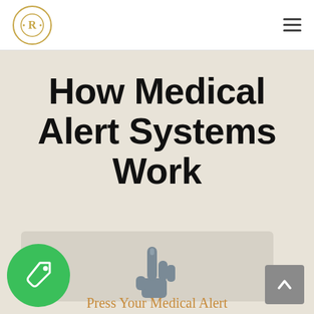How Medical Alert Systems Work
[Figure (illustration): A grey pointing hand/cursor icon in the center of a card area]
[Figure (logo): Green circle with a white price tag icon]
[Figure (other): Grey square scroll-to-top button with upward chevron arrow]
Press Your Medical Alert